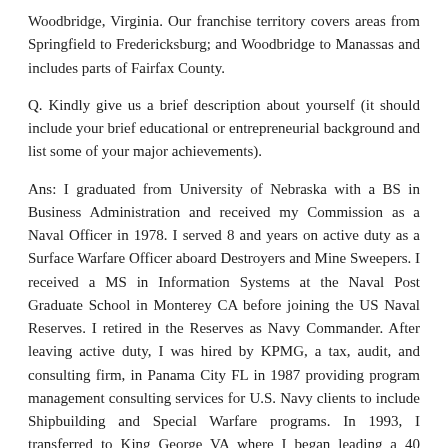Woodbridge, Virginia. Our franchise territory covers areas from Springfield to Fredericksburg; and Woodbridge to Manassas and includes parts of Fairfax County.
Q. Kindly give us a brief description about yourself (it should include your brief educational or entrepreneurial background and list some of your major achievements).
Ans: I graduated from University of Nebraska with a BS in Business Administration and received my Commission as a Naval Officer in 1978. I served 8 and years on active duty as a Surface Warfare Officer aboard Destroyers and Mine Sweepers. I received a MS in Information Systems at the Naval Post Graduate School in Monterey CA before joining the US Naval Reserves. I retired in the Reserves as Navy Commander. After leaving active duty, I was hired by KPMG, a tax, audit, and consulting firm, in Panama City FL in 1987 providing program management consulting services for U.S. Navy clients to include Shipbuilding and Special Warfare programs. In 1993, I transferred to King George VA where I began leading a 40 million dollar contract with the Naval Surface Warfare